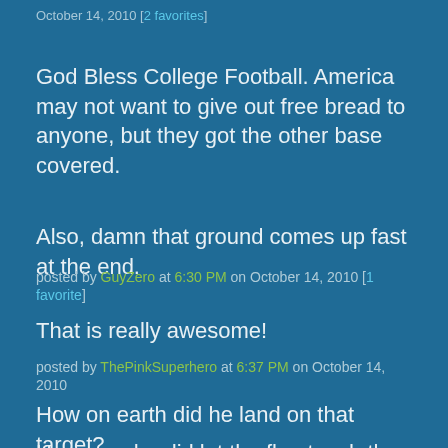October 14, 2010 [2 favorites]
God Bless College Football. America may not want to give out free bread to anyone, but they got the other base covered.
Also, damn that ground comes up fast at the end.
posted by GuyZero at 6:30 PM on October 14, 2010 [1 favorite]
That is really awesome!
posted by ThePinkSuperhero at 6:37 PM on October 14, 2010
How on earth did he land on that target?
However, he did let the flag touch the ground, so I guess he's not a patriot.